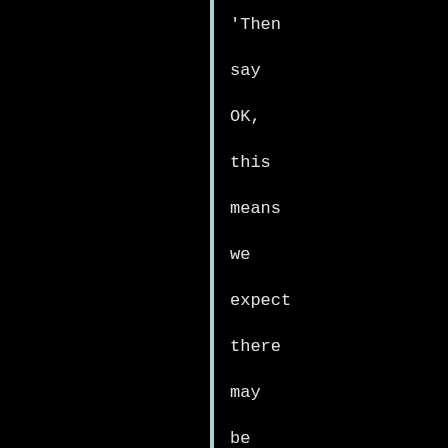'Then say OK, this means we expect there may be vulnerable areas or vulnerable climate regions where you can expect something to happen